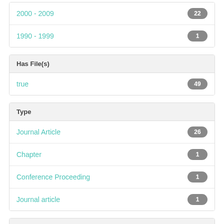2000 - 2009 · 22
1990 - 1999 · 1
Has File(s)
true · 49
Type
Journal Article · 26
Chapter · 1
Conference Proceeding · 1
Journal article · 1